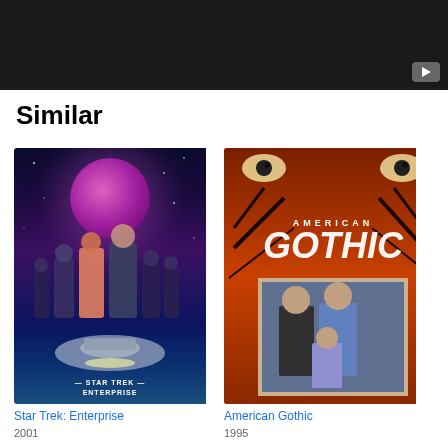[Figure (photo): Dark video banner with play button in bottom-right corner]
Similar
[Figure (photo): Star Trek: Enterprise TV show poster showing cast members against space backdrop with Enterprise ship and pink planet]
Star Trek: Enterprise
2001
[Figure (photo): American Gothic TV show poster with orange/red background showing cast members in a framed photo against bare trees]
American Gothic
1995